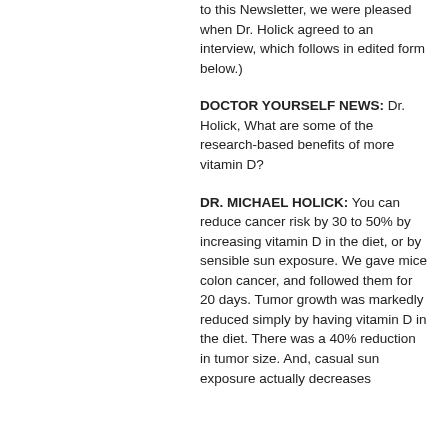to this Newsletter, we were pleased when Dr. Holick agreed to an interview, which follows in edited form below.)
DOCTOR YOURSELF NEWS: Dr. Holick, What are some of the research-based benefits of more vitamin D?
DR. MICHAEL HOLICK: You can reduce cancer risk by 30 to 50% by increasing vitamin D in the diet, or by sensible sun exposure. We gave mice colon cancer, and followed them for 20 days. Tumor growth was markedly reduced simply by having vitamin D in the diet. There was a 40% reduction in tumor size. And, casual sun exposure actually decreases